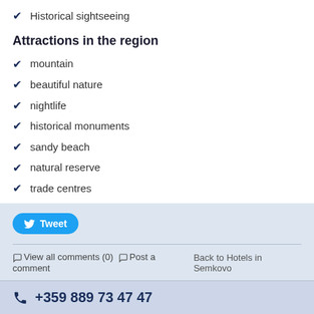✔ Historical sightseeing
Attractions in the region
✔ mountain
✔ beautiful nature
✔ nightlife
✔ historical monuments
✔ sandy beach
✔ natural reserve
✔ trade centres
Tweet
View all comments (0)  Post a comment    Back to Hotels in Semkovo
+359 889 73 47 47